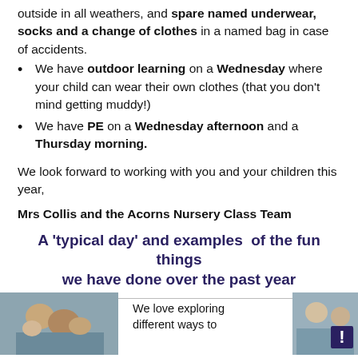outside in all weathers, and spare named underwear, socks and a change of clothes in a named bag in case of accidents.
We have outdoor learning on a Wednesday where your child can wear their own clothes (that you don't mind getting muddy!)
We have PE on a Wednesday afternoon and a Thursday morning.
We look forward to working with you and your children this year,
Mrs Collis and the Acorns Nursery Class Team
A 'typical day' and examples  of the fun things we have done over the past year
[Figure (photo): Children exploring activities at a nursery table]
We love exploring different ways to
[Figure (photo): Children in a nursery classroom setting]